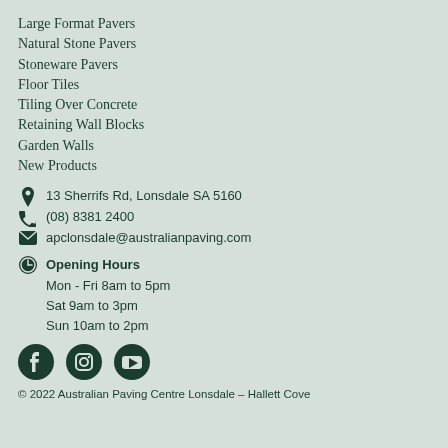Large Format Pavers
Natural Stone Pavers
Stoneware Pavers
Floor Tiles
Tiling Over Concrete
Retaining Wall Blocks
Garden Walls
New Products
13 Sherrifs Rd, Lonsdale SA 5160
(08) 8381 2400
apclonsdale@australianpaving.com
Opening Hours
Mon - Fri 8am to 5pm
Sat 9am to 3pm
Sun 10am to 2pm
[Figure (illustration): Social media icons: Facebook, Instagram, YouTube]
© 2022 Australian Paving Centre Lonsdale – Hallett Cove